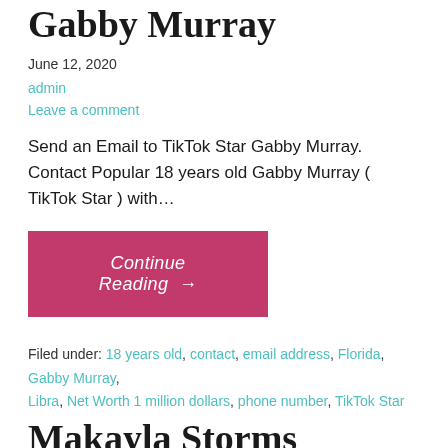Gabby Murray
June 12, 2020
admin
Leave a comment
Send an Email to TikTok Star Gabby Murray. Contact Popular 18 years old Gabby Murray ( TikTok Star ) with…
Continue Reading →
Filed under: 18 years old, contact, email address, Florida, Gabby Murray, Libra, Net Worth 1 million dollars, phone number, TikTok Star
Makayla Storms
admin
Leave a comment